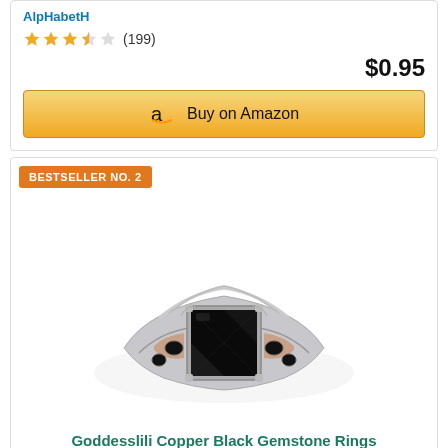AlpHabetH
★★★★☆ (199)
$0.95
Buy on Amazon
BESTSELLER NO. 2
[Figure (photo): A gothic-style silver and rose gold ring with a large square black gemstone center stone and smaller black stones on the band, ornate filigree detailing on the shank.]
Goddesslili Copper Black Gemstone Rings